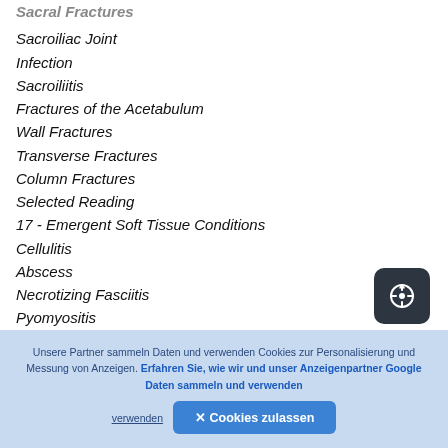Sacroiliac Joint
Infection
Sacroiliitis
Fractures of the Acetabulum
Wall Fractures
Transverse Fractures
Column Fractures
Selected Reading
17 - Emergent Soft Tissue Conditions
Cellulitis
Abscess
Necrotizing Fasciitis
Pyomyositis
Diabetic Muscle Infarction
Unsere Partner sammeln Daten und verwenden Cookies zur Personalisierung und Messung von Anzeigen. Erfahren Sie, wie wir und unser Anzeigenpartner Google Daten sammeln und verwenden
✕ Cookies zulassen